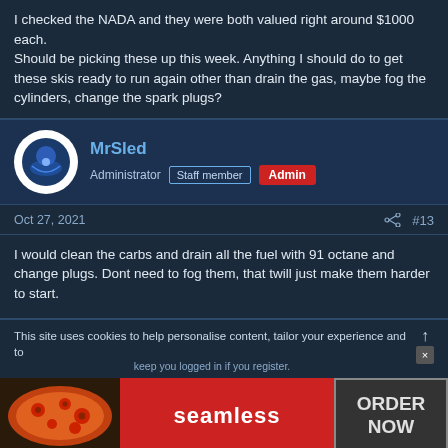I checked the NADA and they were both valued right around $1000 each.
Should be picking these up this week. Anything I should do to get these skis ready to run again other than drain the gas, maybe fog the cylinders, change the spark plugs?
MrSled
Administrator Staff member Admin
Oct 27, 2021 #13
I would clean the carbs and drain all the fuel with 91 octane and change plugs. Dont need to fog them, that twill just make them harder to start.
This site uses cookies to help personalise content, tailor your experience and to keep you logged in if you register.
[Figure (infographic): Seamless food delivery advertisement with pizza image on the left, red Seamless button in the center, and ORDER NOW button on the right]